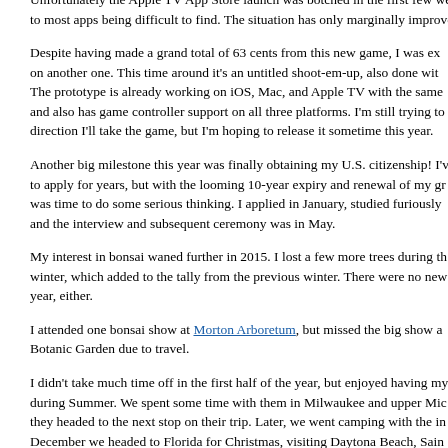Unfortunately the Apple TV App Store launch was botched in the first few weeks, leading to most apps being difficult to find. The situation has only marginally improved.
Despite having made a grand total of 63 cents from this new game, I was excited to start on another one. This time around it's an untitled shoot-em-up, also done with SpriteKit. The prototype is already working on iOS, Mac, and Apple TV with the same codebase, and also has game controller support on all three platforms. I'm still trying to figure out the direction I'll take the game, but I'm hoping to release it sometime this year.
Another big milestone this year was finally obtaining my U.S. citizenship! I've been eligible to apply for years, but with the looming 10-year expiry and renewal of my green card, it was time to do some serious thinking. I applied in January, studied furiously for the test, and the interview and subsequent ceremony was in May.
My interest in bonsai waned further in 2015. I lost a few more trees during the harsh winter, which added to the tally from the previous winter. There were no new acquisitions this year, either.
I attended one bonsai show at Morton Arboretum, but missed the big show at Chicago Botanic Garden due to travel.
I didn't take much time off in the first half of the year, but enjoyed having my parents visit during Summer. We spent some time with them in Milwaukee and upper Michigan before they headed to the next stop on their trip. Later, we went camping with the in-laws. In December we headed to Florida for Christmas, visiting Daytona Beach, Saint Augustine, Epcot, Key West, and Legoland (including the new Legoland hotel). I also had two week-long business trips in 2015, spending some time in Paris and Guadalajara. Alas, not as fun as they might sound.